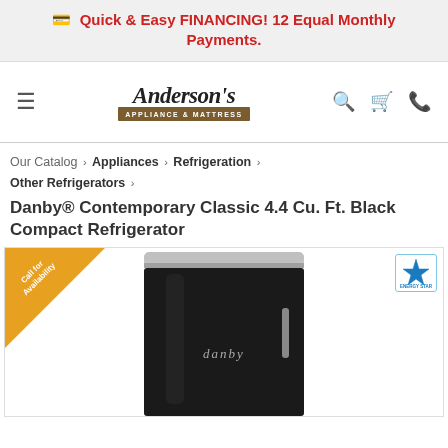Quick & Easy FINANCING! 12 Equal Monthly Payments.
[Figure (logo): Anderson's Appliance & Mattress logo with stylized script text and brown bar]
Our Catalog › Appliances › Refrigeration › Other Refrigerators ›
Danby® Contemporary Classic 4.4 Cu. Ft. Black Compact Refrigerator
[Figure (photo): Black Danby compact refrigerator with chrome top trim, on white background. Corner banner reads 'Call for Availability' in orange. Energy Star badge in top right corner.]